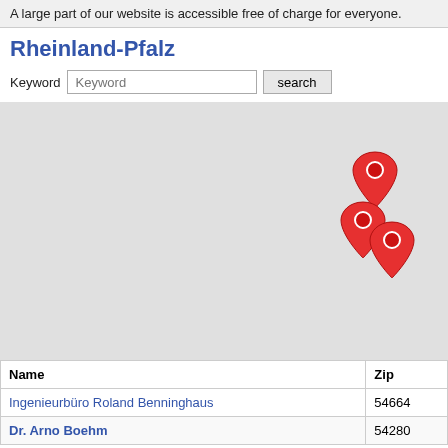A large part of our website is accessible free of charge for everyone.
Rheinland-Pfalz
[Figure (map): A map showing the region of Rheinland-Pfalz with three red map pin markers clustered in the upper-right area of the map on a light gray background.]
| Name | Zip |
| --- | --- |
| Ingenieurbüro Roland Benninghaus | 54664 |
| Dr. Arno Boehm | 54280 |